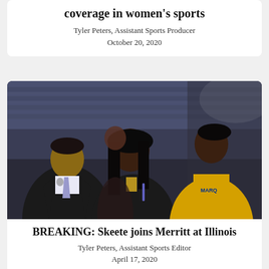coverage in women's sports
Tyler Peters, Assistant Sports Producer
October 20, 2020
[Figure (photo): Three people sitting courtside at a basketball game. A man in a black suit with a lavender tie sits on the left, a woman with long black hair in the center wearing a press badge, and a woman in a yellow jersey on the right. Stadium seats are visible in the background.]
BREAKING: Skeete joins Merritt at Illinois
Tyler Peters, Assistant Sports Editor
April 17, 2020